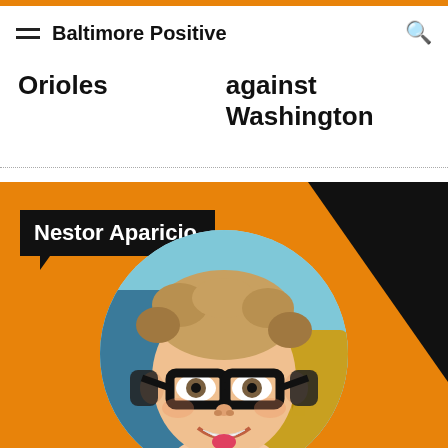Baltimore Positive
Orioles
against Washington
[Figure (photo): Orange branded card featuring 'Nestor Aparicio' name label on black speech bubble, with a circular cropped illustrated portrait photo of a man with curly light brown hair, thick black glasses, smiling, against an orange background with a black diagonal shape.]